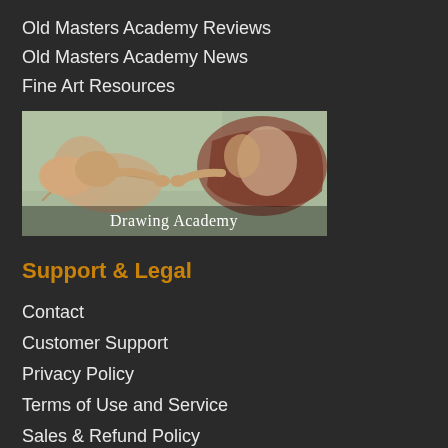Old Masters Academy Reviews
Old Masters Academy News
Fine Art Resources
[Figure (illustration): Michelangelo's Creation of Adam painting used as a banner image with text 'Drawing Academy' overlaid in white serif font at the bottom center]
Support & Legal
Contact
Customer Support
Privacy Policy
Terms of Use and Service
Sales & Refund Policy